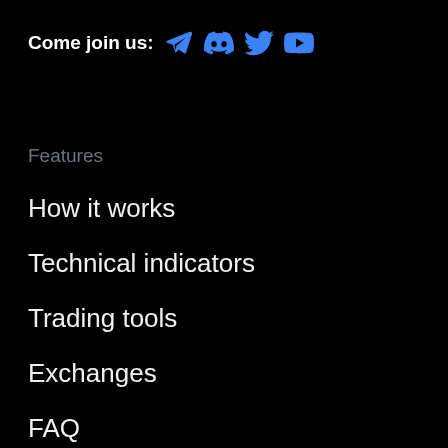Come join us: [Telegram] [Discord] [Twitter] [YouTube]
Features
How it works
Technical indicators
Trading tools
Exchanges
FAQ
Changelog